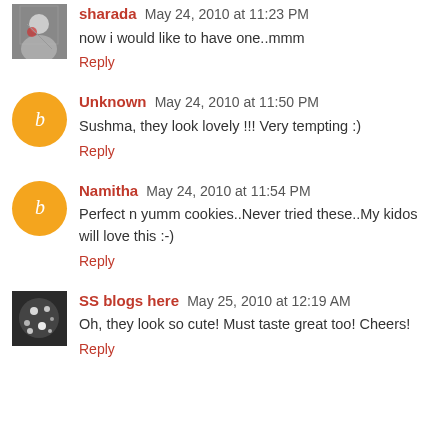sharada May 24, 2010 at 11:23 PM
now i would like to have one..mmm
Reply
Unknown May 24, 2010 at 11:50 PM
Sushma, they look lovely !!! Very tempting :)
Reply
Namitha May 24, 2010 at 11:54 PM
Perfect n yumm cookies..Never tried these..My kidos will love this :-)
Reply
SS blogs here May 25, 2010 at 12:19 AM
Oh, they look so cute! Must taste great too! Cheers!
Reply